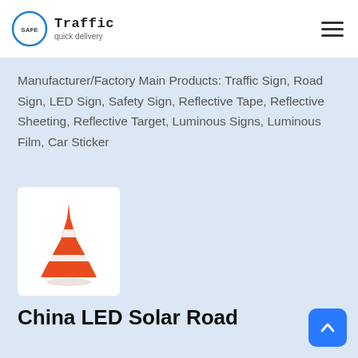SAFE Traffic quick delivery
Manufacturer/Factory Main Products: Traffic Sign, Road Sign, LED Sign, Safety Sign, Reflective Tape, Reflective Sheeting, Reflective Target, Luminous Signs, Luminous Film, Car Sticker
[Figure (photo): Orange traffic cone with white reflective band, displayed on white background in a product card]
China LED Solar Road